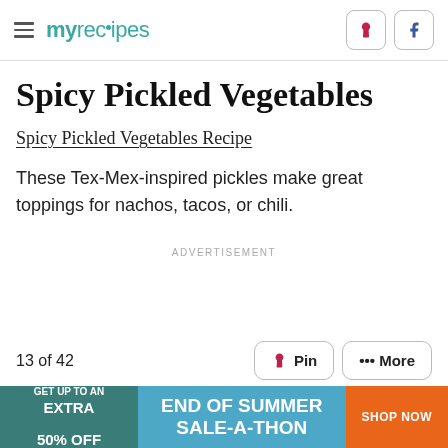myrecipes
Spicy Pickled Vegetables
Spicy Pickled Vegetables Recipe
These Tex-Mex-inspired pickles make great toppings for nachos, tacos, or chili.
ADVERTISEMENT
13 of 42
[Figure (other): Advertisement banner: GET UP TO AN EXTRA 50% OFF — END OF SUMMER SALE-A-THON — SHOP NOW]